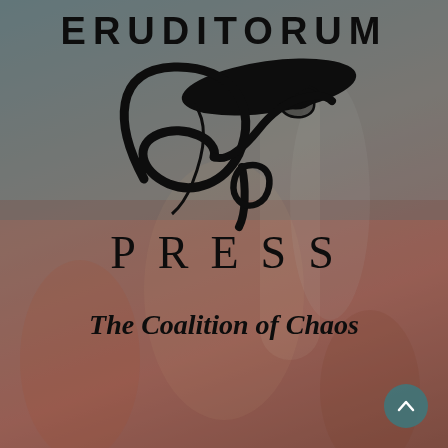ERUDITORUM
[Figure (logo): Eruditorum Press stylized 'ep' cursive logo mark in black on muted background]
PRESS
The Coalition of Chaos